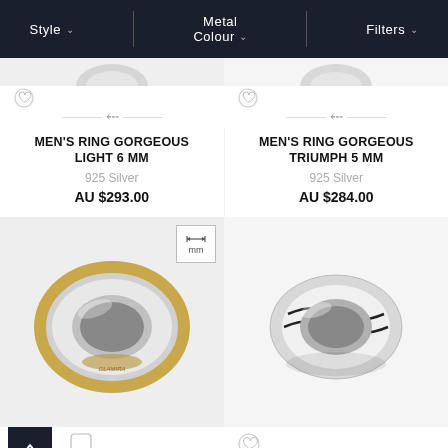Style | Metal Colour | Filters
MEN'S RING GORGEOUS LIGHT 6 MM
925 Silver
AU $293.00
MEN'S RING GORGEOUS TRIUMPH 5 MM
925 Silver
AU $284.00
[Figure (photo): Men's ring with gold center stripe and silver edges - Gorgeous Light 6 MM]
[Figure (photo): Men's silver ring with wave design - Gorgeous Triumph 5 MM]
MEN'S RING FEVER DREAM
MEN'S RING CHARMING